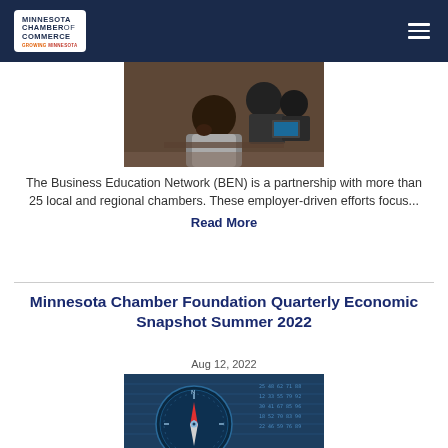Minnesota Chamber of Commerce - Growing Minnesota
[Figure (photo): Students working in a classroom, one student in the foreground thinking with hand to chin, others visible in background with laptops]
The Business Education Network (BEN) is a partnership with more than 25 local and regional chambers. These employer-driven efforts focus...
Read More
Minnesota Chamber Foundation Quarterly Economic Snapshot Summer 2022
Aug 12, 2022
[Figure (photo): A compass placed on financial data sheets with blue tones, representing economic analysis]